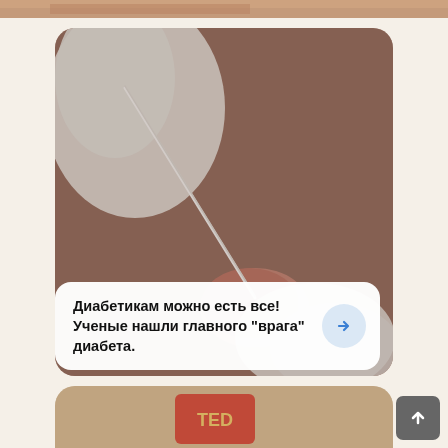[Figure (photo): Partial top strip showing a close-up medical/skin image at the very top edge of the page]
[Figure (photo): Close-up photo of gloved hands performing a finger-prick blood glucose test on a finger, with a lancet device visible. Medical diabetes blood test scene.]
Диабетикам можно есть все! Ученые нашли главного "врага" диабета.
[Figure (photo): Partial bottom card showing a tan/brown background with what appears to be a TED label or badge in red/orange color, only the top portion visible]